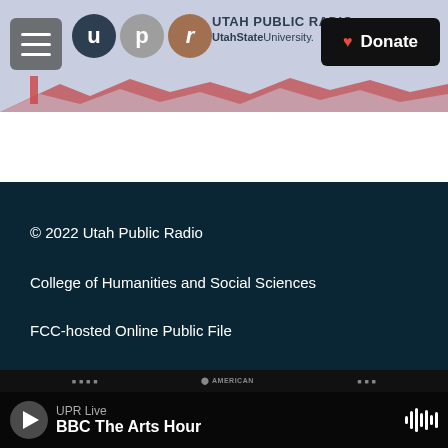Utah Public Radio — UtahStateUniversity.
[Figure (logo): Utah Public Radio logo with three circles: U (dark), P (gray), R (brown), and text UTAH PUBLIC RADIO / UtahStateUniversity.]
© 2022 Utah Public Radio
College of Humanities and Social Sciences
FCC-hosted Online Public File
UPR Live — BBC The Arts Hour